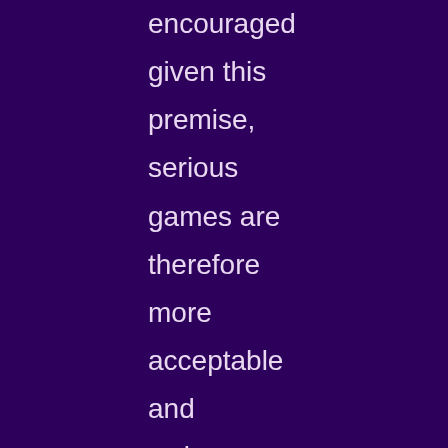encouraged given this premise, serious games are therefore more acceptable and welcome by the public, media and government in mainland China. however, there are limits to the general applicability of this too -